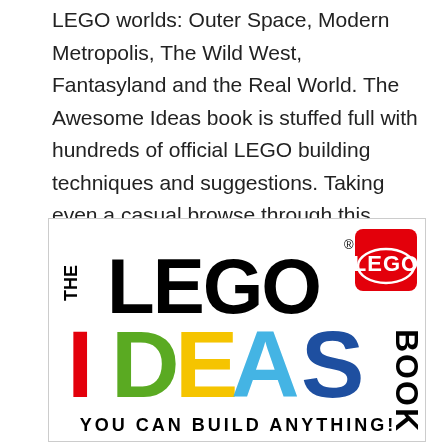LEGO worlds: Outer Space, Modern Metropolis, The Wild West, Fantasyland and the Real World. The Awesome Ideas book is stuffed full with hundreds of official LEGO building techniques and suggestions. Taking even a casual browse through this book can be a surefire way to break a boredom streak!
[Figure (illustration): Cover of The LEGO Ideas Book showing colorful letters spelling IDEAS with the tagline YOU CAN BUILD ANYTHING!]